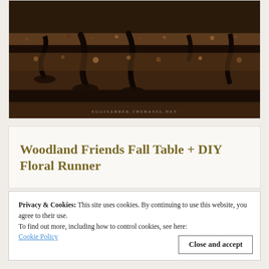[Figure (photo): Close-up photo of a chocolate layered cake with dark chocolate ganache dripping over crumbled chocolate topping. Watermark text reads 'EGGISABREK.THEBASEL.NET' at bottom.]
Woodland Friends Fall Table + DIY Floral Runner
Privacy & Cookies: This site uses cookies. By continuing to use this website, you agree to their use.
To find out more, including how to control cookies, see here:
Cookie Policy
Close and accept